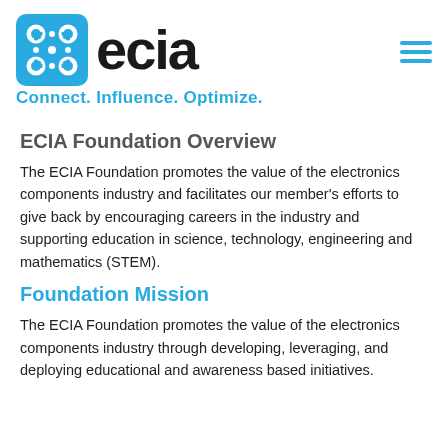[Figure (logo): ECIA logo with blue rounded square icon containing connected circles and the text 'ecia' in bold black, with tagline 'Connect. Influence. Optimize.' in blue below]
ECIA Foundation Overview
The ECIA Foundation promotes the value of the electronics components industry and facilitates our member's efforts to give back by encouraging careers in the industry and supporting education in science, technology, engineering and mathematics (STEM).
Foundation Mission
The ECIA Foundation promotes the value of the electronics components industry through developing, leveraging, and deploying educational and awareness based initiatives.